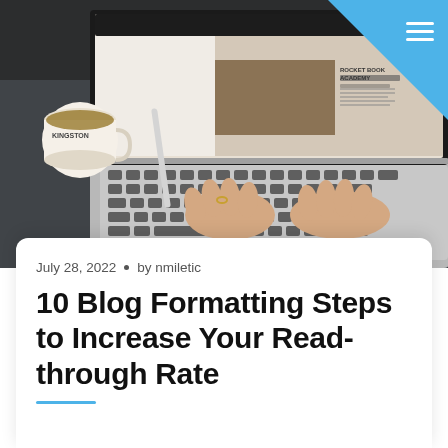[Figure (photo): Person typing on a laptop keyboard at a desk with a coffee mug and pen. Laptop screen shows a website called Rocket Book Academy. Top right corner has a blue triangle with a hamburger menu icon.]
July 28, 2022 • by nmiletic
10 Blog Formatting Steps to Increase Your Read-through Rate